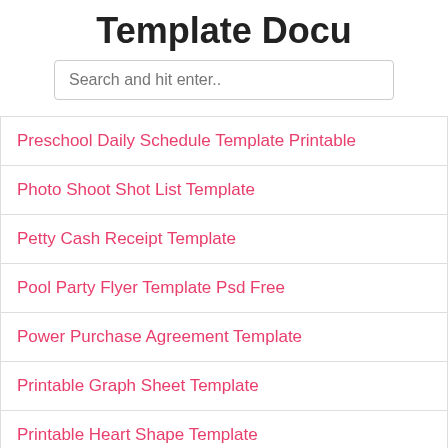Template Docu
Preschool Daily Schedule Template Printable
Photo Shoot Shot List Template
Petty Cash Receipt Template
Pool Party Flyer Template Psd Free
Power Purchase Agreement Template
Printable Graph Sheet Template
Printable Heart Shape Template
Printable Free Newsletter Templates Word
Price Proposal Sample
Printable Employee Performance Evaluation Template